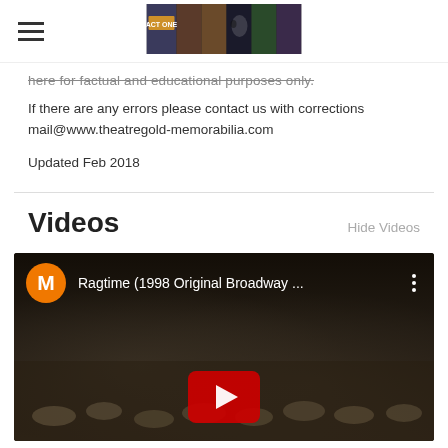Theatre Gold Memorabilia website header with logo and navigation
here for factual and educational purposes only.
If there are any errors please contact us with corrections
mail@www.theatregold-memorabilia.com
Updated Feb 2018
Videos
Hide Videos
[Figure (screenshot): YouTube video embed showing Ragtime (1998 Original Broadway ...) with crowd scene in background and play button]